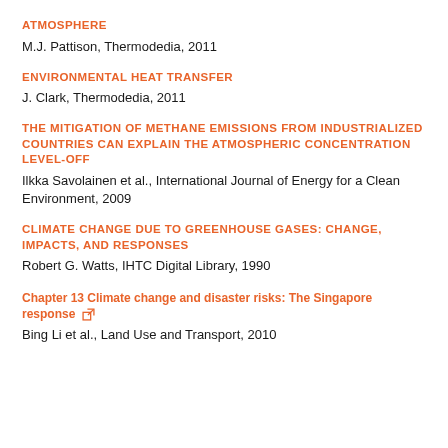ATMOSPHERE
M.J. Pattison, Thermodedia, 2011
ENVIRONMENTAL HEAT TRANSFER
J. Clark, Thermodedia, 2011
THE MITIGATION OF METHANE EMISSIONS FROM INDUSTRIALIZED COUNTRIES CAN EXPLAIN THE ATMOSPHERIC CONCENTRATION LEVEL-OFF
Ilkka Savolainen et al., International Journal of Energy for a Clean Environment, 2009
CLIMATE CHANGE DUE TO GREENHOUSE GASES: CHANGE, IMPACTS, AND RESPONSES
Robert G. Watts, IHTC Digital Library, 1990
Chapter 13 Climate change and disaster risks: The Singapore response
Bing Li et al., Land Use and Transport, 2010